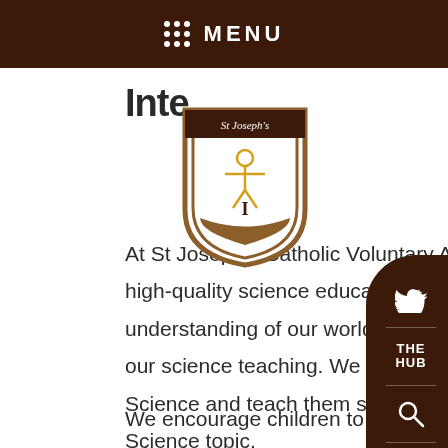MENU
Inten...
[Figure (logo): St Joseph's Catholic Voluntary Academy school shield logo with figure and banner]
At St Joseph's Catholic Voluntary Academy we aim to give children a high-quality science education which provides children with an understanding of our world and the environment around them through our science teaching. We aim to give all children equal opportunities in Science and teach them specific knowledge and skills relating to their Science topic.
We encourage children to use scientific vocabulary specific to their current science topic through clea... skills...children...